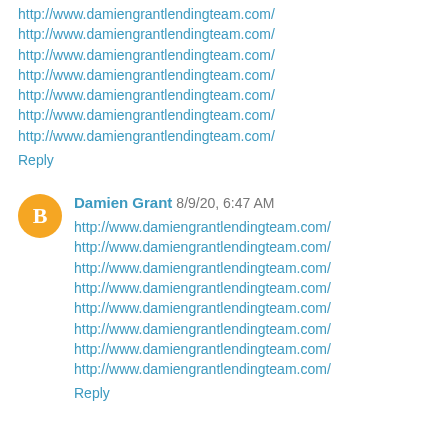http://www.damiengrantlendingteam.com/
http://www.damiengrantlendingteam.com/
http://www.damiengrantlendingteam.com/
http://www.damiengrantlendingteam.com/
http://www.damiengrantlendingteam.com/
http://www.damiengrantlendingteam.com/
http://www.damiengrantlendingteam.com/
Reply
Damien Grant  8/9/20, 6:47 AM
http://www.damiengrantlendingteam.com/
http://www.damiengrantlendingteam.com/
http://www.damiengrantlendingteam.com/
http://www.damiengrantlendingteam.com/
http://www.damiengrantlendingteam.com/
http://www.damiengrantlendingteam.com/
http://www.damiengrantlendingteam.com/
http://www.damiengrantlendingteam.com/
Reply